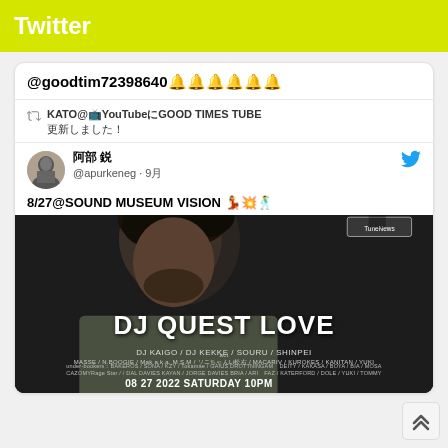Twitter
@goodtim72398640🔔🔔🔔🔔🔔🔔
KATO@📺YouTubeにGOOD TIMES TUBE
更新しました！
阿部 鋭
@apurkeneg · 9月
8/27@SOUND MUSEUM VISION 💃💥🕺
[Figure (photo): Event poster for DJ Quest Love at Sound Museum Vision on 08 27 2022 Saturday 10PM. Features close-up photo of a man with natural hair. Also features DJ Kaigo / DJ Kekke / Souru / Shinpei and additional lineup below.]